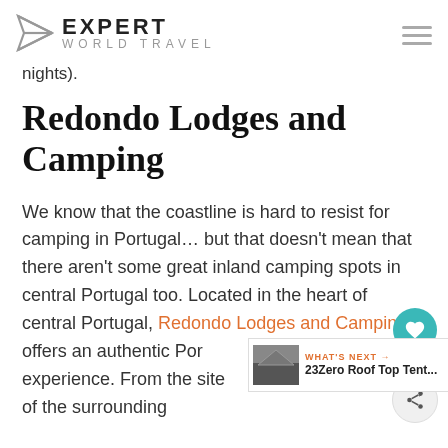Expert World Travel
nights).
Redondo Lodges and Camping
We know that the coastline is hard to resist for camping in Portugal… but that doesn't mean that there aren't some great inland camping spots in central Portugal too. Located in the heart of central Portugal, Redondo Lodges and Camping offers an authentic Portuguese camping experience. From the site itself, you'll have views of the surrounding